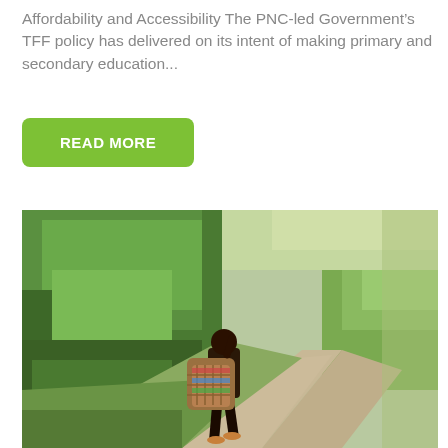Affordability and Accessibility The PNC-led Government’s TFF policy has delivered on its intent of making primary and secondary education...
READ MORE
[Figure (photo): A person walking on a rural dirt road carrying large heavy bags on their back, with dense green vegetation and trees on the left side and open gravel road on the right.]